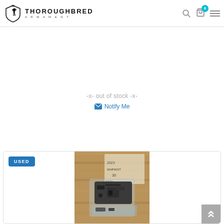THOROUGHBRED ARMAMENT
-x- out of stock -x-
Notify Me
[Figure (photo): Product photo of a used gun lower receiver part in plastic packaging, placed on a wooden surface with packaging material visible in background. Has a blue USED badge.]